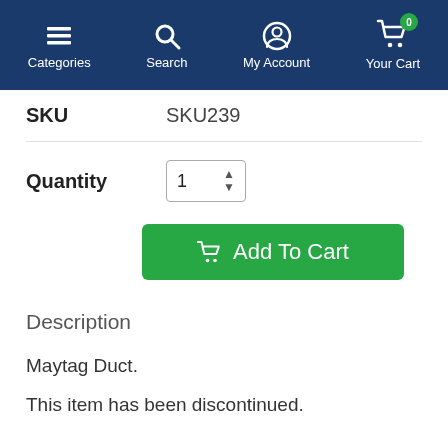Categories  Search  My Account  Your Cart (0)
SKU   SKU239
Quantity   1
Add To Cart
Description
Maytag Duct.
This item has been discontinued.